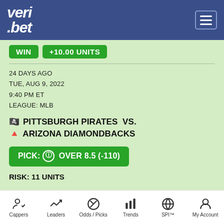veri.bet
WIN +10.00 UNITS
24 DAYS AGO
TUE, AUG 9, 2022
9:40 PM ET
LEAGUE: MLB
PITTSBURGH PIRATES VS. ARIZONA DIAMONDBACKS
PICK: OVER 8.5 (-110)
RISK: 11 UNITS
Cappers | Leaders | Odds / Picks | Trends | SPI™ | My Account